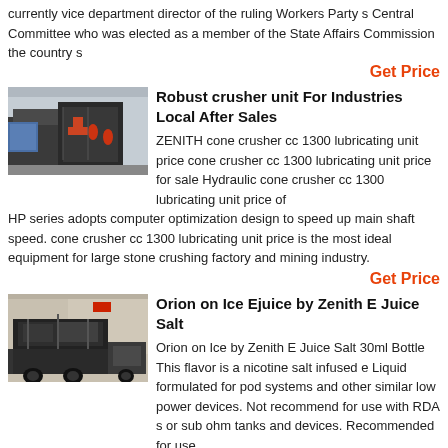currently vice department director of the ruling Workers Party s Central Committee who was elected as a member of the State Affairs Commission the country s
Get Price
[Figure (photo): Industrial cone crusher machinery at a facility]
Robust crusher unit For Industries Local After Sales
ZENITH cone crusher cc 1300 lubricating unit price cone crusher cc 1300 lubricating unit price for sale Hydraulic cone crusher cc 1300 lubricating unit price of HP series adopts computer optimization design to speed up main shaft speed. cone crusher cc 1300 lubricating unit price is the most ideal equipment for large stone crushing factory and mining industry.
Get Price
[Figure (photo): Large industrial crusher equipment on a truck at a facility]
Orion on Ice Ejuice by Zenith E Juice Salt
Orion on Ice by Zenith E Juice Salt 30ml Bottle This flavor is a nicotine salt infused e Liquid formulated for pod systems and other similar low power devices. Not recommend for use with RDA s or sub ohm tanks and devices. Recommended for use
Get Price